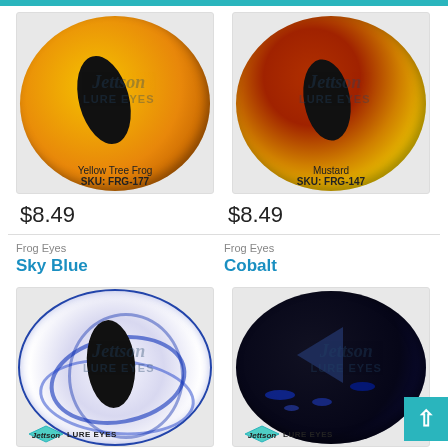[Figure (photo): Yellow Tree Frog lure eye product image with Jettson Lure Eyes watermark, labeled SKU: FRG-177]
[Figure (photo): Mustard lure eye product image with Jettson Lure Eyes watermark, labeled SKU: FRG-147]
$8.49
$8.49
Frog Eyes
Sky Blue
Frog Eyes
Cobalt
[Figure (photo): Sky Blue lure eye product image with Jettson Lure Eyes watermark, white and blue swirled pattern]
[Figure (photo): Cobalt lure eye product image with Jettson Lure Eyes watermark, dark cobalt/black with blue speckles]